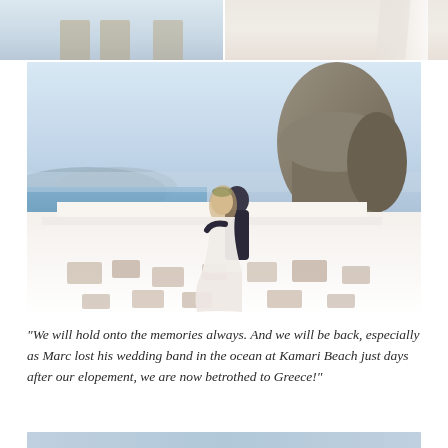[Figure (photo): Two wedding photos side by side at top of page: left shows interior with chairs and soft lighting, right shows flowing white fabric/veil]
[Figure (photo): Large wedding photo of couple embracing on white rooftop terrace in Santorini, Greece, overlooking the caldera and ocean, with rocky cliffs in background. Bride wears white lace gown with flower crown, groom in navy suit.]
“We will hold onto the memories always. And we will be back, especially as Marc lost his wedding band in the ocean at Kamari Beach just days after our elopement, we are now betrothed to Greece!”
[Figure (photo): Partial blue-toned photo visible at bottom of page]